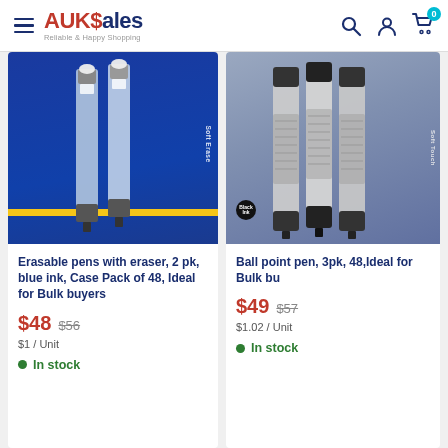AUKSales - Reliable & Happy Shopping
[Figure (photo): Erasable pens with eraser, blue ink, product packaging on blue background]
Erasable pens with eraser, 2 pk, blue ink, Case Pack of 48, Ideal for Bulk buyers
$48  $56
$1 / Unit
In stock
[Figure (photo): Ball point pen, 3pk, black ink product packaging on gray/blue background]
Ball point pen, 3pk, 48,Ideal for Bulk bu
$49  $57
$1.02 / Unit
In stock